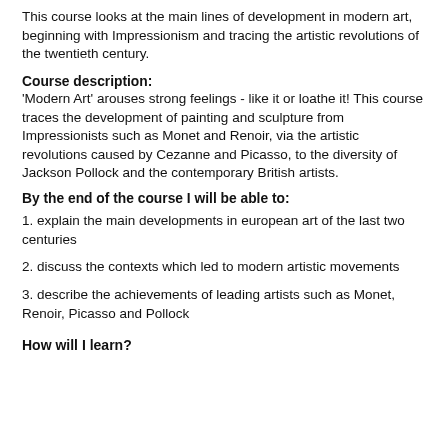This course looks at the main lines of development in modern art, beginning with Impressionism and tracing the artistic revolutions of the twentieth century.
Course description:
'Modern Art' arouses strong feelings - like it or loathe it! This course traces the development of painting and sculpture from Impressionists such as Monet and Renoir, via the artistic revolutions caused by Cezanne and Picasso, to the diversity of Jackson Pollock and the contemporary British artists.
By the end of the course I will be able to:
1. explain the main developments in european art of the last two centuries
2. discuss the contexts which led to modern artistic movements
3. describe the achievements of leading artists such as Monet, Renoir, Picasso and Pollock
How will I learn?